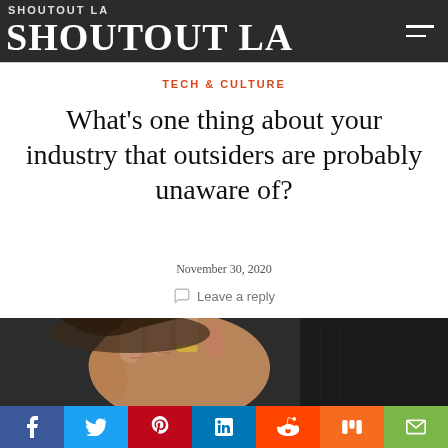SHOUTOUT LA
TECH & CULTURE
What's one thing about your industry that outsiders are probably unaware of?
November 30, 2020
Leave a reply
[Figure (photo): Close-up photo of a person's hand raised with a ring on one finger, partially covering their face, dark background with leather texture]
Social sharing buttons: Facebook, Twitter, Pinterest, LinkedIn, Reddit, Mix, Email